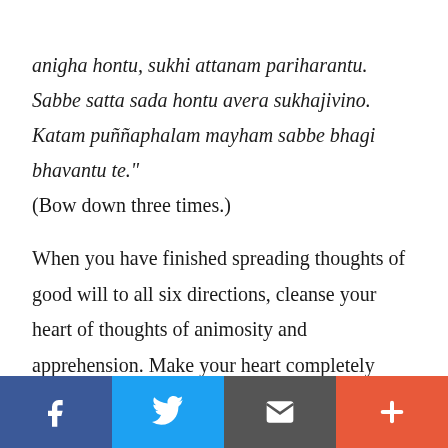anigha hontu, sukhi attanam pariharantu. Sabbe satta sada hontu avera sukhajivino. Katam puññaphalam mayham sabbe bhagi bhavantu te." (Bow down three times.)
When you have finished spreading thoughts of good will to all six directions, cleanse your heart of thoughts of animosity and apprehension. Make your heart completely clear and at ease. Good will acts as a support for purity of virtue and so is an appropriate way of preparing the heart for the
f | (Twitter bird) | (email icon) | +